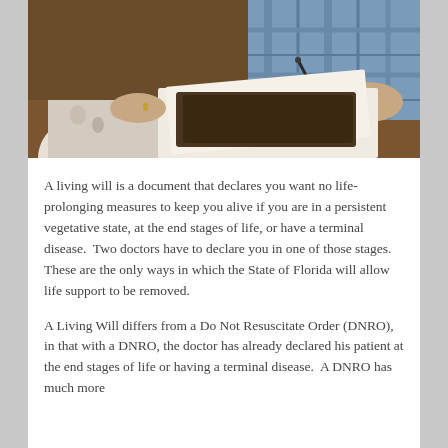[Figure (photo): Two elderly people sitting at a table, one holding a pen and signing or reviewing documents, the other person visible beside them. A leather document folder is open on the table.]
A living will is a document that declares you want no life-prolonging measures to keep you alive if you are in a persistent vegetative state, at the end stages of life, or have a terminal disease.  Two doctors have to declare you in one of those stages. These are the only ways in which the State of Florida will allow life support to be removed.
A Living Will differs from a Do Not Resuscitate Order (DNRO), in that with a DNRO, the doctor has already declared his patient at the end stages of life or having a terminal disease.  A DNRO has much more